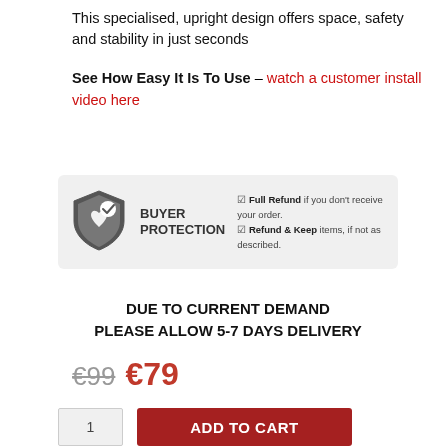This specialised, upright design offers space, safety and stability in just seconds
See How Easy It Is To Use – watch a customer install video here
[Figure (infographic): Buyer Protection badge with shield icon. Text: BUYER PROTECTION. Full Refund if you don't receive your order. Refund & Keep items, if not as described.]
DUE TO CURRENT DEMAND PLEASE ALLOW 5-7 DAYS DELIVERY
€99  €79
ADD TO CART